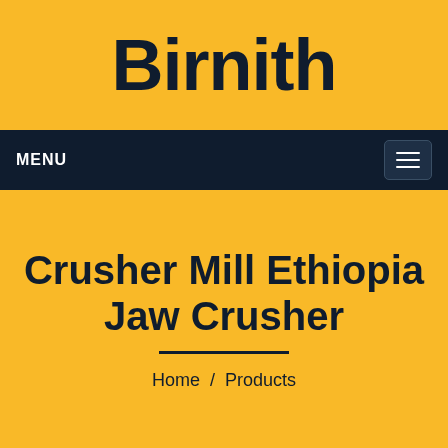Birnith
MENU
Crusher Mill Ethiopia Jaw Crusher
Home / Products
^